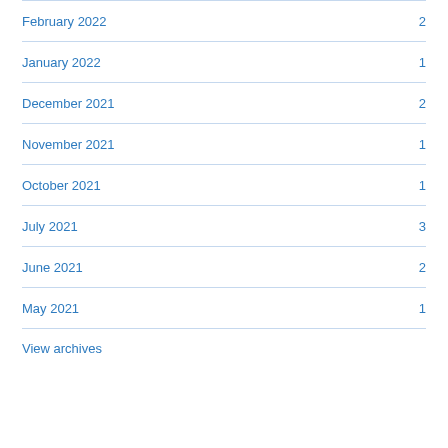February 2022 2
January 2022 1
December 2021 2
November 2021 1
October 2021 1
July 2021 3
June 2021 2
May 2021 1
View archives